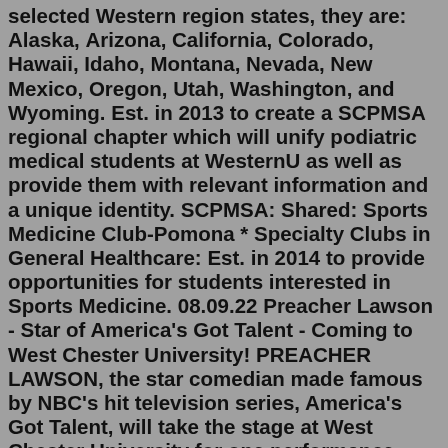selected Western region states, they are: Alaska, Arizona, California, Colorado, Hawaii, Idaho, Montana, Nevada, New Mexico, Oregon, Utah, Washington, and Wyoming. Est. in 2013 to create a SCPMSA regional chapter which will unify podiatric medical students at WesternU as well as provide them with relevant information and a unique identity. SCPMSA: Shared: Sports Medicine Club-Pomona * Specialty Clubs in General Healthcare: Est. in 2014 to provide opportunities for students interested in Sports Medicine. 08.09.22 Preacher Lawson - Star of America's Got Talent - Coming to West Chester University! PREACHER LAWSON, the star comedian made famous by NBC's hit television series, America's Got Talent, will take the stage at West Chester University for one performance only on Saturday, September 24 at 8 p.m. Tickets are now on sale to the public at www.wcupatix.com or 610.436.2266.Asian American Student Association strives to promote awareness of the Asian-American culture and diversity on our campus. Our